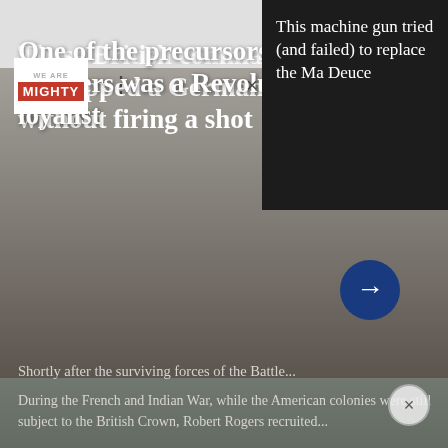[Figure (screenshot): Screenshot of a 'We Are The Mighty' website article page showing two related article cards overlaid on a machine gun image background, with a dark tooltip popup in the top right corner.]
This machine gun tried (and failed) to replace the Ma Deuce
RELATED
One of the precursors to the Army Rangers was a Revolutionary War loyalist
During the French and Indian War, while the American colonies were still subject to the British Crown, Robert Rogers recruited...
RELATED
These British commandos kidnapped a German general without firing a shot
Shortly after the surviving forces of the Battle...